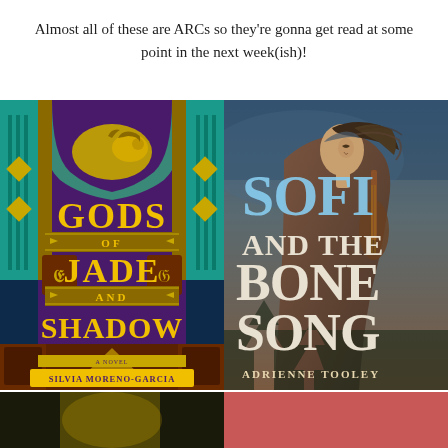Almost all of these are ARCs so they're gonna get read at some point in the next week(ish)!
[Figure (photo): Book cover: Gods of Jade and Shadow by Silvia Moreno-Garcia. Art Deco style with teal, purple, and gold colors. Features a golden-faced figure reclining at top, Mayan pyramid at bottom, and bold gold lettering on dark purple background. Subtitle 'A Novel' and author name at bottom.]
[Figure (photo): Book cover: Sofi and the Bone Song by Adrienne Tooley. A young woman facing right with windswept hair holding a musical instrument, against a blue-grey misty background. Bold white/cream serif lettering for the title, author name in smaller caps at the bottom.]
[Figure (photo): Partial view of a dark book cover with gold elements at the bottom left, partially visible.]
[Figure (photo): Partial view of a red/coral book cover at the bottom right, partially visible.]